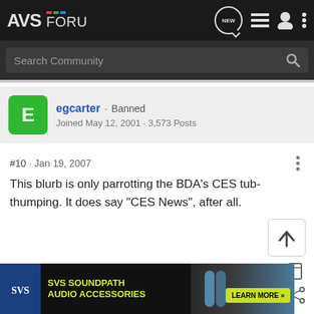AVS Forum
Search Community
egcarter · Banned
Joined May 12, 2001 · 3,573 Posts
#10 · Jan 19, 2007
​This blurb is only parrotting the BDA's CES tub-thumping. It does say "CES News", after all.
[Figure (screenshot): SVS SoundPath Audio Accessories advertisement banner]